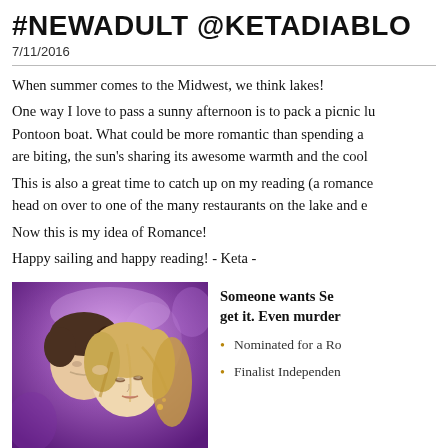#NEWADULT @KETADIABLO
7/11/2016
When summer comes to the Midwest, we think lakes!
One way I love to pass a sunny afternoon is to pack a picnic lu Pontoon boat. What could be more romantic than spending a are biting, the sun's sharing its awesome warmth and the cool
This is also a great time to catch up on my reading (a romance head on over to one of the many restaurants on the lake and e
Now this is my idea of Romance!
Happy sailing and happy reading! - Keta -
[Figure (photo): A romantic image of a couple in close embrace with purple/violet tones and soft lighting]
Someone wants Se get it. Even murder
Nominated for a Ro
Finalist Independen